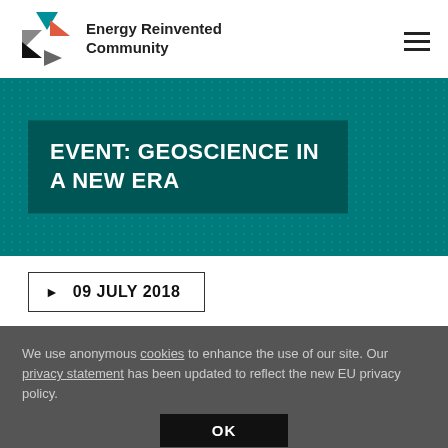[Figure (logo): Energy Reinvented Community logo with geometric triangles in teal, coral/orange, and dark gray/black, with text 'Energy Reinvented Community']
[Figure (illustration): Hamburger menu icon (three horizontal lines) in top right corner]
[Figure (other): Teal banner with dot texture pattern background]
EVENT: GEOSCIENCE IN A NEW ERA
▶ 09 JULY 2018
We use anonymous cookies to enhance the use of our site. Our privacy statement has been updated to reflect the new EU privacy policy.
OK